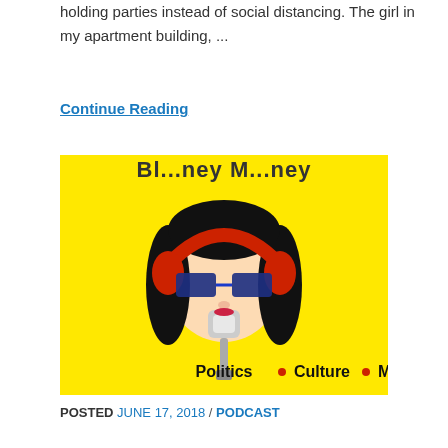holding parties instead of social distancing. The girl in my apartment building, ...
Continue Reading
[Figure (illustration): Podcast logo on yellow background: cartoon face of a woman with black hair, red headphones, blue sunglasses, and a microphone/muzzle device on her mouth. Partial text at top reads '[Bl..ney M..ney]' and bottom text reads 'Politics • Culture • Media']
POSTED JUNE 17, 2018 / PODCAST